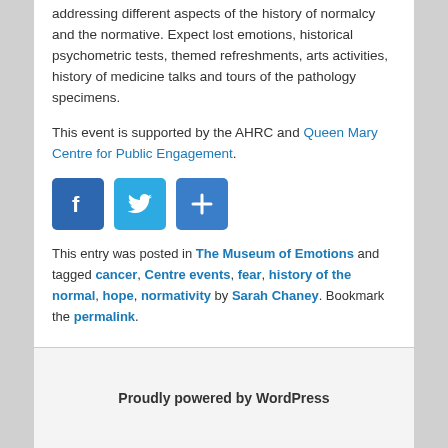addressing different aspects of the history of normalcy and the normative. Expect lost emotions, historical psychometric tests, themed refreshments, arts activities, history of medicine talks and tours of the pathology specimens.
This event is supported by the AHRC and Queen Mary Centre for Public Engagement.
[Figure (other): Social media sharing icons: Facebook (blue), Twitter (light blue), and a share/plus button (blue)]
This entry was posted in The Museum of Emotions and tagged cancer, Centre events, fear, history of the normal, hope, normativity by Sarah Chaney. Bookmark the permalink.
Proudly powered by WordPress